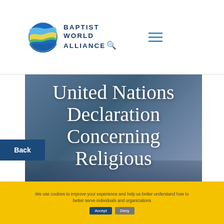[Figure (logo): Baptist World Alliance logo with colorful globe icon and text]
BAPTIST WORLD ALLIANCE
[Figure (photo): Blue-grey blurred background with large white serif text reading 'United Nations Declaration Concerning Religious']
United Nations Declaration Concerning Religious
Back
We use cookies to improve your experience and help us better understand how to better serve individuals and organizations